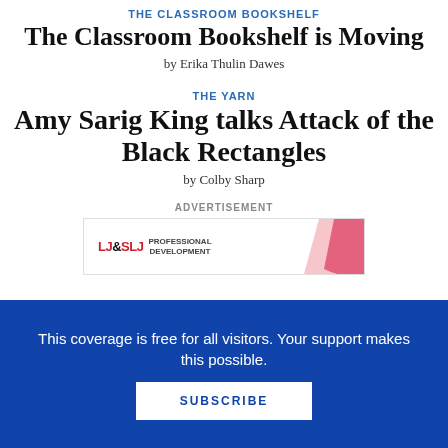THE CLASSROOM BOOKSHELF
The Classroom Bookshelf is Moving
by Erika Thulin Dawes
THE YARN
Amy Sarig King talks Attack of the Black Rectangles
by Colby Sharp
ADVERTISEMENT
[Figure (logo): LJ&SLJ Professional Development advertisement banner with red swoosh design]
This coverage is free for all visitors. Your support makes this possible.
SUBSCRIBE